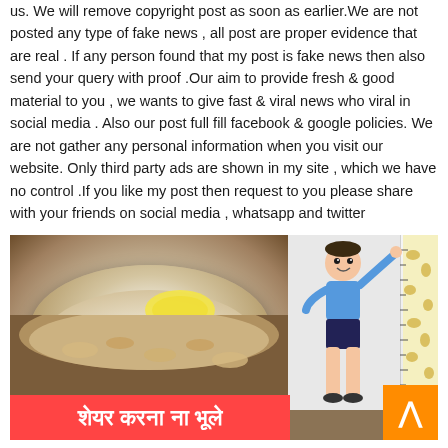us. We will remove copyright post as soon as earlier.We are not posted any type of fake news , all post are proper evidence that are real . If any person found that my post is fake news then also send your query with proof .Our aim to provide fresh & good material to you , we wants to give fast & viral news who viral in social media . Also our post full fill facebook & google policies. We are not gather any personal information when you visit our website. Only third party ads are shown in my site , which we have no control .If you like my post then request to you please share with your friends on social media , whatsapp and twitter
[Figure (photo): Composite image: left side shows a bowl of oatmeal/muesli with banana slices on a wooden surface. Center has a blue box with yellow Hindi text 'बच्चों का हाइट बढ़ाने के लिए अपनाये ये आसान उपाय'. Right side shows a cartoon boy standing next to a height measurement ruler with giraffe pattern. Bottom has a red banner with white Hindi text 'शेयर करना ना भूले'. Bottom right has an orange scroll-up button.]